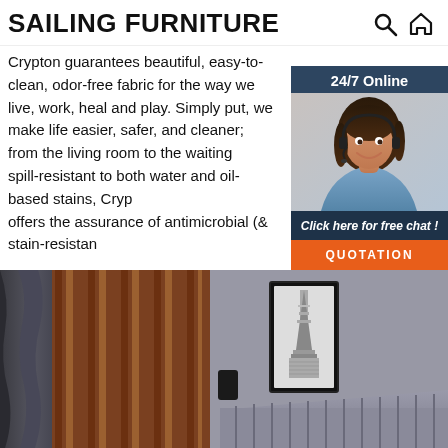SAILING FURNITURE
Crypton guarantees beautiful, easy-to-clean, odor-free fabric for the way we live, work, heal and play. Simply put, we make life easier, safer, and cleaner; from the living room to the waiting spill-resistant to both water and oil-based stains, Cryp offers the assurance of antimicrobial (& stain-resistan ...
[Figure (other): Chat widget with '24/7 Online' header, female customer service agent wearing headset, 'Click here for free chat!' text, and QUOTATION button]
Get Price
[Figure (photo): Interior room photo showing wooden slat wall panel, grey curtains, framed Eiffel Tower artwork, and grey upholstered headboard]